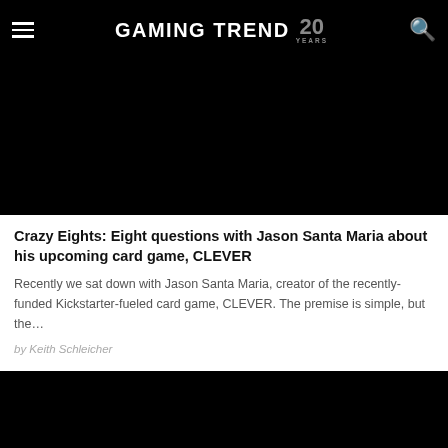GAMING TREND 20 YEARS
[Figure (photo): Black image / article thumbnail at the top of the article listing]
Crazy Eights: Eight questions with Jason Santa Maria about his upcoming card game, CLEVER
Recently we sat down with Jason Santa Maria, creator of the recently-funded Kickstarter-fueled card game, CLEVER.  The premise is simple, but the…
by Keith Schleicher
[Figure (photo): Black image / article thumbnail at the bottom of the article listing]